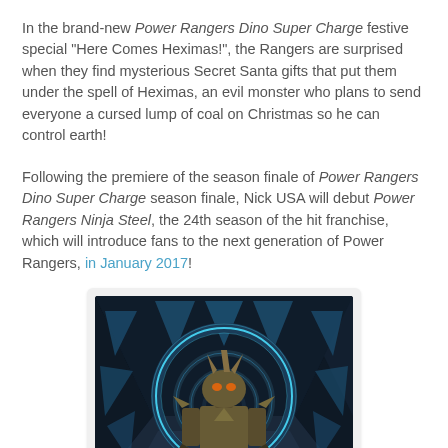In the brand-new Power Rangers Dino Super Charge festive special "Here Comes Heximas!", the Rangers are surprised when they find mysterious Secret Santa gifts that put them under the spell of Heximas, an evil monster who plans to send everyone a cursed lump of coal on Christmas so he can control earth!
Following the premiere of the season finale of Power Rangers Dino Super Charge season finale, Nick USA will debut Power Rangers Ninja Steel, the 24th season of the hit franchise, which will introduce fans to the next generation of Power Rangers, in January 2017!
[Figure (photo): A scene from Power Rangers Ninja Steel showing a large armored villain monster standing in a sci-fi corridor with a circular glowing archway, blue geometric panels on the walls and ceiling.]